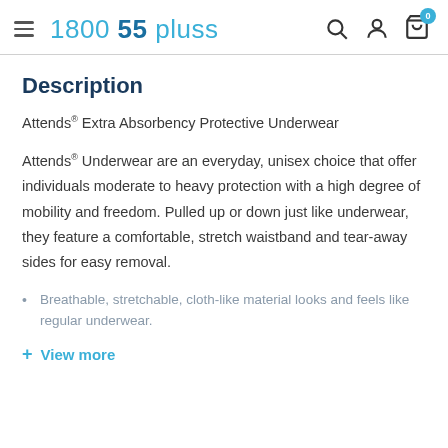1800 55 pluss
Description
Attends® Extra Absorbency Protective Underwear
Attends® Underwear are an everyday, unisex choice that offer individuals moderate to heavy protection with a high degree of mobility and freedom. Pulled up or down just like underwear, they feature a comfortable, stretch waistband and tear-away sides for easy removal.
Breathable, stretchable, cloth-like material looks and feels like regular underwear.
+ View more